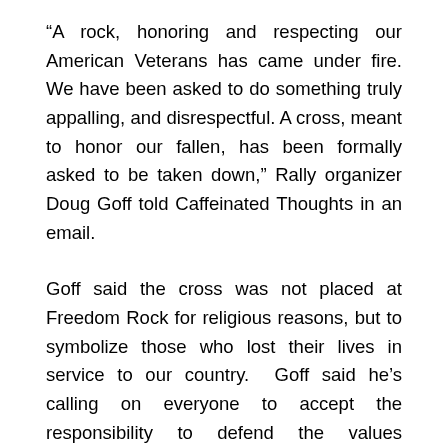“A rock, honoring and respecting our American Veterans has came under fire. We have been asked to do something truly appalling, and disrespectful. A cross, meant to honor our fallen, has been formally asked to be taken down,” Rally organizer Doug Goff told Caffeinated Thoughts in an email.
Goff said the cross was not placed at Freedom Rock for religious reasons, but to symbolize those who lost their lives in service to our country.  Goff said he’s calling on everyone to accept the responsibility to defend the values Americans hold dear by attending the rally on Sunday.